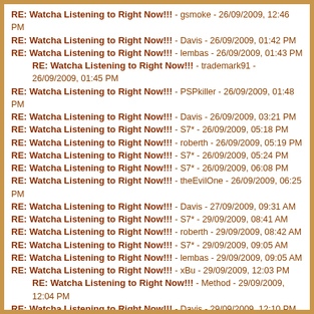RE: Watcha Listening to Right Now!!! - gsmoke - 26/09/2009, 12:46 PM
RE: Watcha Listening to Right Now!!! - Davis - 26/09/2009, 01:42 PM
RE: Watcha Listening to Right Now!!! - lembas - 26/09/2009, 01:43 PM
RE: Watcha Listening to Right Now!!! - trademark91 - 26/09/2009, 01:45 PM
RE: Watcha Listening to Right Now!!! - PSPkiller - 26/09/2009, 01:48 PM
RE: Watcha Listening to Right Now!!! - Davis - 26/09/2009, 03:21 PM
RE: Watcha Listening to Right Now!!! - S7* - 26/09/2009, 05:18 PM
RE: Watcha Listening to Right Now!!! - roberth - 26/09/2009, 05:19 PM
RE: Watcha Listening to Right Now!!! - S7* - 26/09/2009, 05:24 PM
RE: Watcha Listening to Right Now!!! - S7* - 26/09/2009, 06:08 PM
RE: Watcha Listening to Right Now!!! - theEvilOne - 26/09/2009, 06:25 PM
RE: Watcha Listening to Right Now!!! - Davis - 27/09/2009, 09:31 AM
RE: Watcha Listening to Right Now!!! - S7* - 29/09/2009, 08:41 AM
RE: Watcha Listening to Right Now!!! - roberth - 29/09/2009, 08:42 AM
RE: Watcha Listening to Right Now!!! - S7* - 29/09/2009, 09:05 AM
RE: Watcha Listening to Right Now!!! - lembas - 29/09/2009, 09:05 AM
RE: Watcha Listening to Right Now!!! - xBu - 29/09/2009, 12:03 PM
RE: Watcha Listening to Right Now!!! - Method - 29/09/2009, 12:04 PM
RE: Watcha Listening to Right Now!!! - Davis - 29/09/2009, 12:10 PM
RE: Watcha Listening to Right Now!!! - trademark91 - 29/09/2009